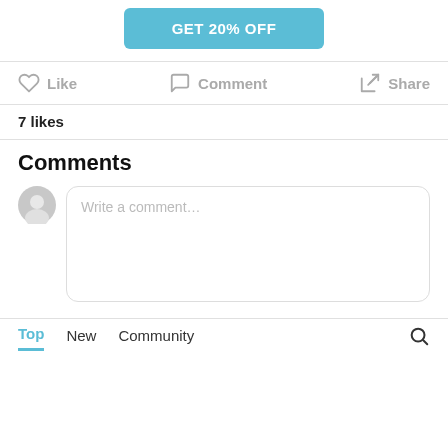[Figure (other): Blue button with text GET 20% OFF]
Like   Comment   Share
7 likes
Comments
Write a comment…
Top   New   Community